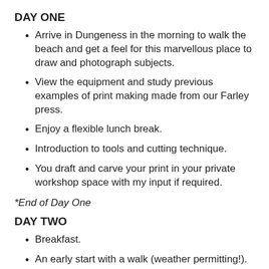DAY ONE
Arrive in Dungeness in the morning to walk the beach and get a feel for this marvellous place to draw and photograph subjects.
View the equipment and study previous examples of print making made from our Farley press.
Enjoy a flexible lunch break.
Introduction to tools and cutting technique.
You draft and carve your print in your private workshop space with my input if required.
*End of Day One
DAY TWO
Breakfast.
An early start with a walk (weather permitting!).
Pre-proofing your print block.